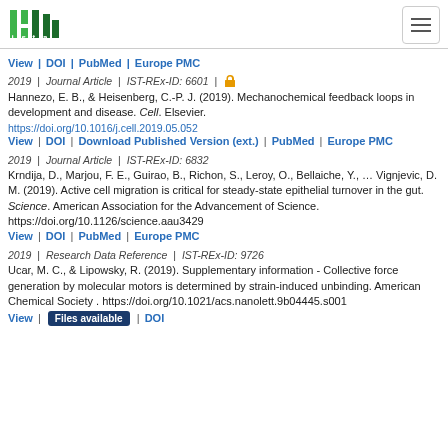ISTA logo and navigation
View | DOI | PubMed | Europe PMC
2019 | Journal Article | IST-REx-ID: 6601 | [open access]
Hannezo, E. B., & Heisenberg, C.-P. J. (2019). Mechanochemical feedback loops in development and disease. Cell. Elsevier. https://doi.org/10.1016/j.cell.2019.05.052
View | DOI | Download Published Version (ext.) | PubMed | Europe PMC
2019 | Journal Article | IST-REx-ID: 6832
Krndija, D., Marjou, F. E., Guirao, B., Richon, S., Leroy, O., Bellaiche, Y., … Vignjevic, D. M. (2019). Active cell migration is critical for steady-state epithelial turnover in the gut. Science. American Association for the Advancement of Science. https://doi.org/10.1126/science.aau3429
View | DOI | PubMed | Europe PMC
2019 | Research Data Reference | IST-REx-ID: 9726
Ucar, M. C., & Lipowsky, R. (2019). Supplementary information - Collective force generation by molecular motors is determined by strain-induced unbinding. American Chemical Society . https://doi.org/10.1021/acs.nanolett.9b04445.s001
View | Files available | DOI